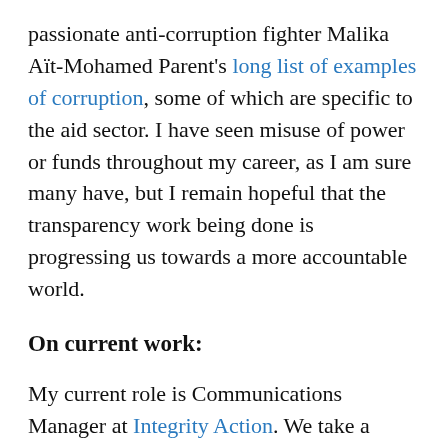passionate anti-corruption fighter Malika Aït-Mohamed Parent's long list of examples of corruption, some of which are specific to the aid sector. I have seen misuse of power or funds throughout my career, as I am sure many have, but I remain hopeful that the transparency work being done is progressing us towards a more accountable world.
On current work:
My current role is Communications Manager at Integrity Action. We take a positive, proactive approach to encouraging integrity rather than preventing corruption. And we do it by working with